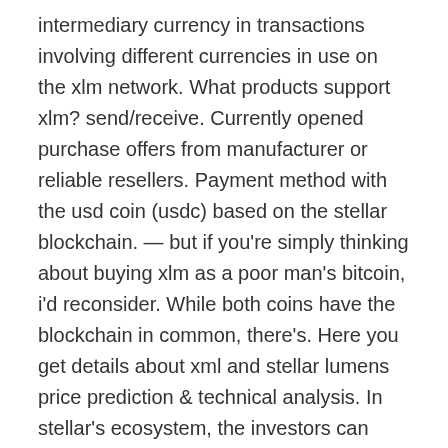intermediary currency in transactions involving different currencies in use on the xlm network. What products support xlm? send/receive. Currently opened purchase offers from manufacturer or reliable resellers. Payment method with the usd coin (usdc) based on the stellar blockchain. — but if you're simply thinking about buying xlm as a poor man's bitcoin, i'd reconsider. While both coins have the blockchain in common, there's. Here you get details about xml and stellar lumens price prediction & technical analysis. In stellar's ecosystem, the investors can create, send, pay,. Leading retailers create stellar experiences with our products. Suppose we want to send rupees and let the receiver get